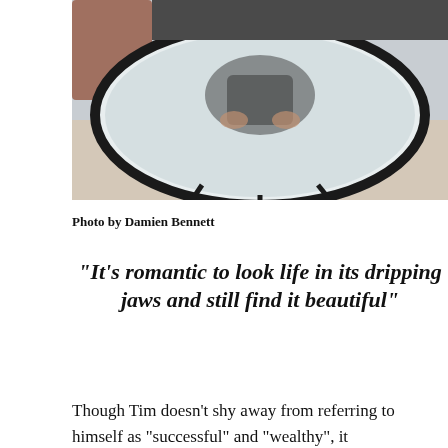[Figure (photo): A person reflected in a large round glass coffee table, viewed from above. The table has a dark circular frame. Background shows a sofa and floor.]
Photo by Damien Bennett
"It's romantic to look life in its dripping jaws and still find it beautiful"
Though Tim doesn't shy away from referring to himself as “successful” and “wealthy”, it